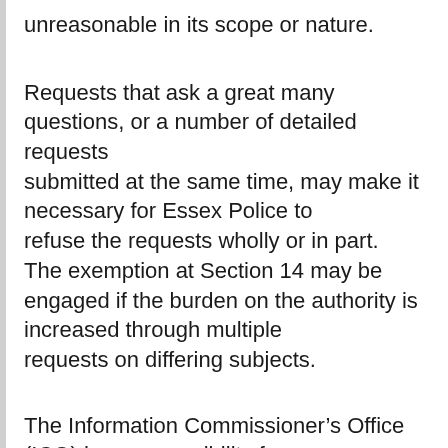unreasonable in its scope or nature.
Requests that ask a great many questions, or a number of detailed requests submitted at the same time, may make it necessary for Essex Police to refuse the requests wholly or in part.  The exemption at Section 14 may be engaged if the burden on the authority is increased through multiple requests on differing subjects.
The Information Commissioner's Office (ICO) has responsibility for providing oversight and guidance for the legislation and they have